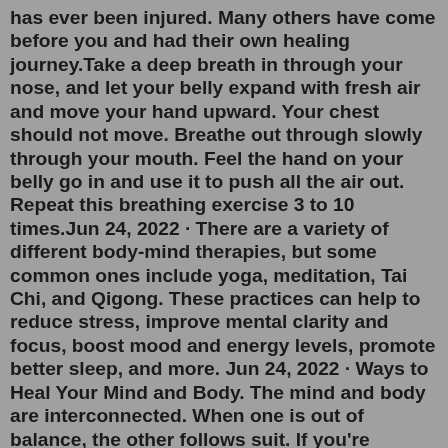has ever been injured. Many others have come before you and had their own healing journey.Take a deep breath in through your nose, and let your belly expand with fresh air and move your hand upward. Your chest should not move. Breathe out through slowly through your mouth. Feel the hand on your belly go in and use it to push all the air out. Repeat this breathing exercise 3 to 10 times.Jun 24, 2022 · There are a variety of different body-mind therapies, but some common ones include yoga, meditation, Tai Chi, and Qigong. These practices can help to reduce stress, improve mental clarity and focus, boost mood and energy levels, promote better sleep, and more. Jun 24, 2022 · Ways to Heal Your Mind and Body. The mind and body are interconnected. When one is out of balance, the other follows suit. If you're looking for ways to heal your mind and body, here are a few options: Yoga. Yoga is a form of exercise that can be used to improve both your mental and physical health. Angel Medicine CD: How to Heal the Body